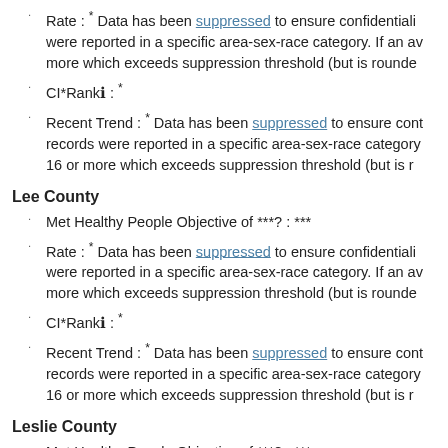Rate : * Data has been suppressed to ensure confidentiality were reported in a specific area-sex-race category. If an av more which exceeds suppression threshold (but is rounde
CI*Rankℹ : *
Recent Trend : * Data has been suppressed to ensure cont records were reported in a specific area-sex-race categor 16 or more which exceeds suppression threshold (but is r
Lee County
Met Healthy People Objective of ***? : ***
Rate : * Data has been suppressed to ensure confidentiality were reported in a specific area-sex-race category. If an av more which exceeds suppression threshold (but is rounde
CI*Rankℹ : *
Recent Trend : * Data has been suppressed to ensure cont records were reported in a specific area-sex-race categor 16 or more which exceeds suppression threshold (but is r
Leslie County
Met Healthy People Objective of ***? : ***
Rate : * Data has been suppressed to ensure confidentiality were reported in a specific area-sex-race category. If an av